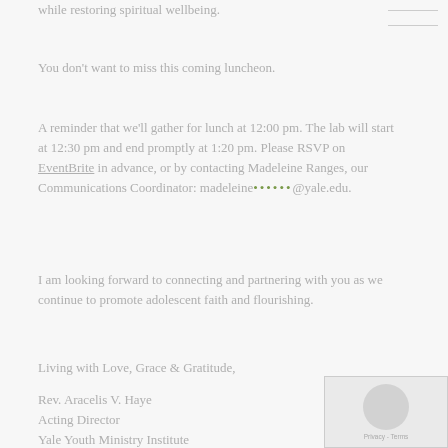while restoring spiritual wellbeing.
You don't want to miss this coming luncheon.
A reminder that we'll gather for lunch at 12:00 pm. The lab will start at 12:30 pm and end promptly at 1:20 pm. Please RSVP on EventBrite in advance, or by contacting Madeleine Ranges, our Communications Coordinator: madeleine.ranges@yale.edu.
I am looking forward to connecting and partnering with you as we continue to promote adolescent faith and flourishing.
Living with Love, Grace & Gratitude,
Rev. Aracelis V. Haye
Acting Director
Yale Youth Ministry Institute